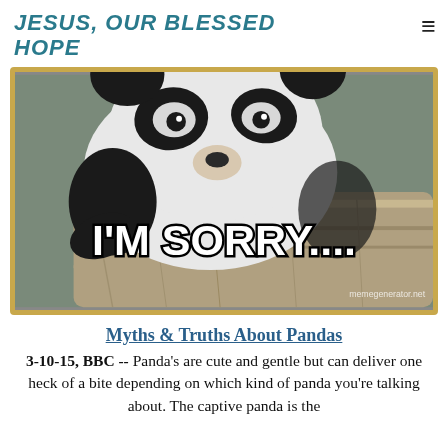JESUS, OUR BLESSED HOPE
[Figure (photo): A panda bear clinging to a wooden log, with white text overlay reading 'I'M SORRY....' and watermark 'memegenerator.net' in the bottom right. The image has a golden/tan decorative border.]
Myths & Truths About Pandas
3-10-15, BBC -- Panda's are cute and gentle but can deliver one heck of a bite depending on which kind of panda you're talking about. The captive panda is the